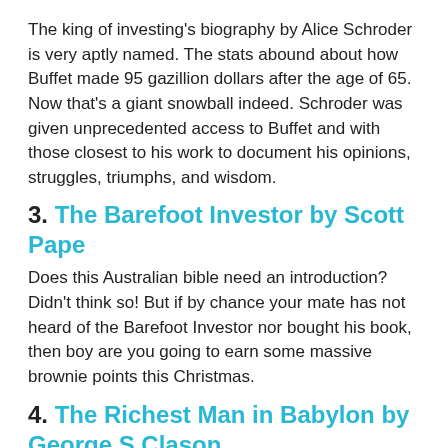The king of investing's biography by Alice Schroder is very aptly named. The stats abound about how Buffet made 95 gazillion dollars after the age of 65. Now that's a giant snowball indeed. Schroder was given unprecedented access to Buffet and with those closest to his work to document his opinions, struggles, triumphs, and wisdom.
3. The Barefoot Investor by Scott Pape
Does this Australian bible need an introduction? Didn't think so! But if by chance your mate has not heard of the Barefoot Investor nor bought his book, then boy are you going to earn some massive brownie points this Christmas.
4. The Richest Man in Babylon by George S Clason
A classic that was first published in 1926, but it's lost none...